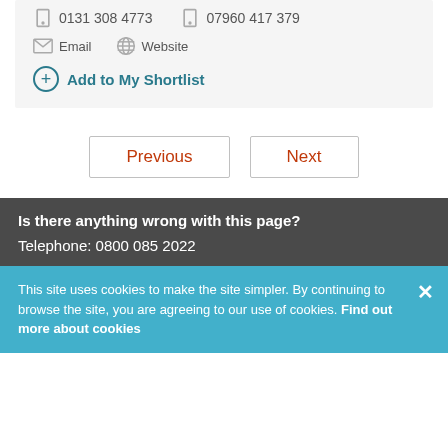0131 308 4773   07960 417 379
Email   Website
Add to My Shortlist
Previous
Next
Is there anything wrong with this page?
Telephone: 0800 085 2022
This site uses cookies to make the site simpler. By continuing to browse the site, you are agreeing to our use of cookies. Find out more about cookies